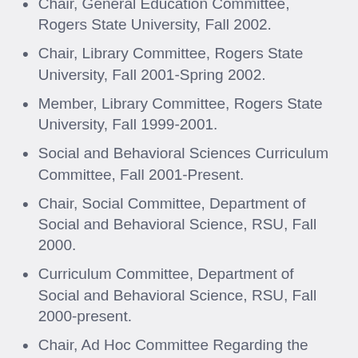Chair, General Education Committee, Rogers State University, Fall 2002.
Chair, Library Committee, Rogers State University, Fall 2001-Spring 2002.
Member, Library Committee, Rogers State University, Fall 1999-2001.
Social and Behavioral Sciences Curriculum Committee, Fall 2001-Present.
Chair, Social Committee, Department of Social and Behavioral Science, RSU, Fall 2000.
Curriculum Committee, Department of Social and Behavioral Science, RSU, Fall 2000-present.
Chair, Ad Hoc Committee Regarding the Creation of an Orientation Course at